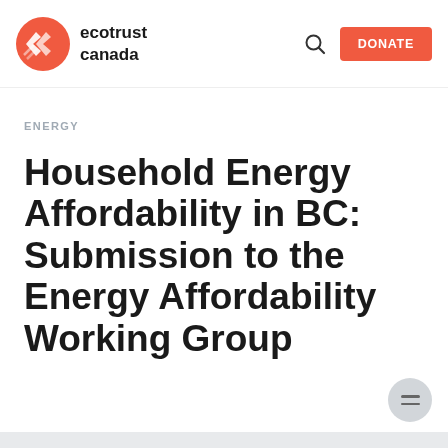ecotrust canada — DONATE
ENERGY
Household Energy Affordability in BC: Submission to the Energy Affordability Working Group